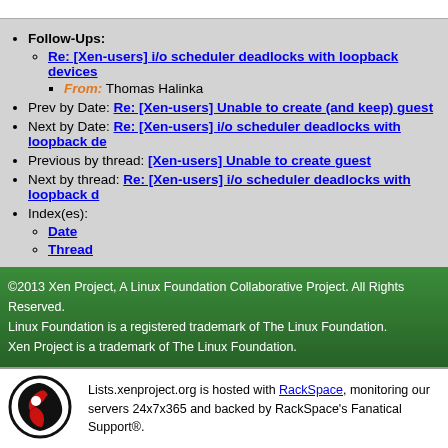Follow-Ups:
Re: [Xen-users] i/o scheduler deadlocks with loopback devices
From: Thomas Halinka
Prev by Date: Re: [Xen-users] Unable to create (and keep) guest
Next by Date: Re: [Xen-users] i/o scheduler deadlocks with loopback de...
Previous by thread: [Xen-users] Unable to create guest
Next by thread: Re: [Xen-users] i/o scheduler deadlocks with loopback d...
Index(es):
Date
Thread
©2013 Xen Project, A Linux Foundation Collaborative Project. All Rights Reserved. Linux Foundation is a registered trademark of The Linux Foundation. Xen Project is a trademark of The Linux Foundation.
Lists.xenproject.org is hosted with RackSpace, monitoring our servers 24x7x365 and backed by RackSpace's Fanatical Support®.